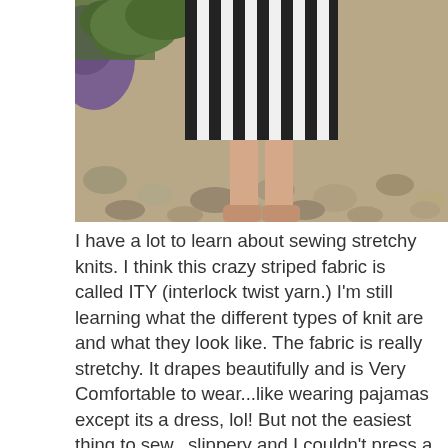[Figure (photo): Top portion of a photo showing a person wearing a black and white striped dress, standing on a gravel/pebble surface with purple flowers and green foliage visible]
I have a lot to learn about sewing stretchy knits. I think this crazy striped fabric is called ITY (interlock twist yarn.) I'm still learning what the different types of knit are and what they look like. The fabric is really stretchy. It drapes beautifully and is Very Comfortable to wear...like wearing pajamas except its a dress, lol! But not the easiest thing to sew...slippery and I couldn't press a crease into it, so it was hard to make a nice hem.
[Figure (photo): Bottom portion of a photo showing a person wearing the striped dress in front of a background of purple lilac flowers and green leaves]